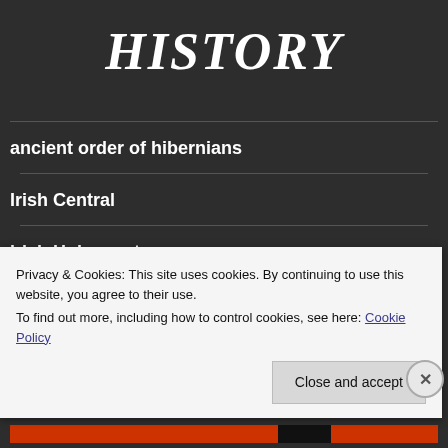HISTORY
ancient order of hibernians
Irish Central
irish Holocaust
Privacy & Cookies: This site uses cookies. By continuing to use this website, you agree to their use.
To find out more, including how to control cookies, see here: Cookie Policy
Close and accept